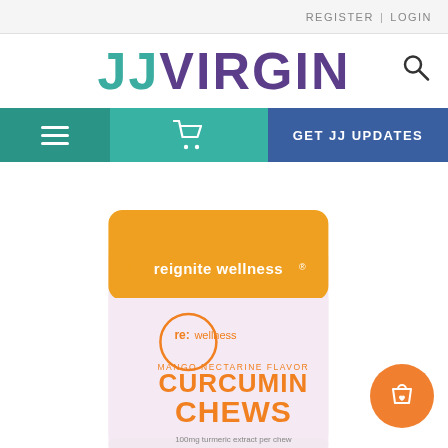REGISTER | LOGIN
JJVIRGIN
[Figure (screenshot): Navigation bar with hamburger menu, shopping cart icon, and GET JJ UPDATES button]
[Figure (photo): Product bag of reignite wellness re:wellness Mango Nectarine Flavor Curcumin Chews 100mg turmeric extract per chew, with an orange shopping bag floating button in bottom right]